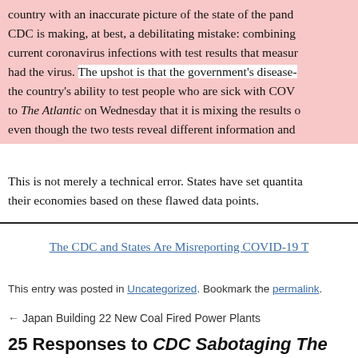country with an inaccurate picture of the state of the pand... CDC is making, at best, a debilitating mistake: combining current coronavirus infections with test results that measur... had the virus. The upshot is that the government's disease-... the country's ability to test people who are sick with COV... to The Atlantic on Wednesday that it is mixing the results o... even though the two tests reveal different information and...
This is not merely a technical error. States have set quantita... their economies based on these flawed data points.
The CDC and States Are Misreporting COVID-19 T...
This entry was posted in Uncategorized. Bookmark the permalink.
← Japan Building 22 New Coal Fired Power Plants
25 Responses to CDC Sabotaging The Eco...